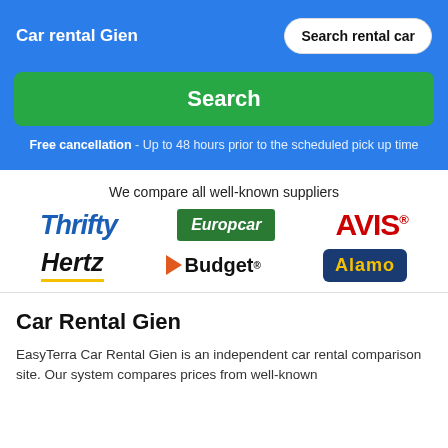Car rental Gien
Search
Free cancellation - Up to 48 hours prior to the scheduled pick up time
We compare all well-known suppliers
[Figure (logo): Thrifty car rental logo]
[Figure (logo): Europcar logo green background]
[Figure (logo): AVIS logo in red]
[Figure (logo): Hertz logo italic black with yellow underline]
[Figure (logo): Budget logo with orange arrow]
[Figure (logo): Alamo logo yellow text on blue/navy background]
Car Rental Gien
EasyTerra Car Rental Gien is an independent car rental comparison site. Our system compares prices from well-known